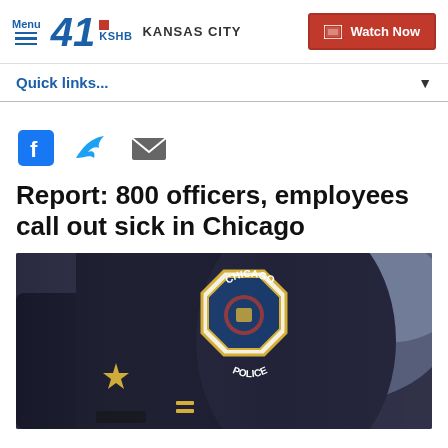Menu | 41 KSHB KANSAS CITY | Watch Now
Quick links...
[Figure (other): Social share icons: Facebook, Twitter, Email]
Report: 800 officers, employees call out sick in Chicago
[Figure (photo): Close-up photo of a Chicago Police officer's uniform showing the Chicago Police badge/patch on the sleeve]